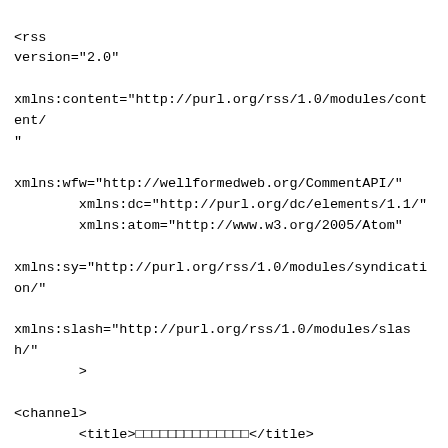<?xml version="1.0" encoding="UTF-8"?><rss
version="2.0"

xmlns:content="http://purl.org/rss/1.0/modules/content/"
"

xmlns:wfw="http://wellformedweb.org/CommentAPI/"
        xmlns:dc="http://purl.org/dc/elements/1.1/"
        xmlns:atom="http://www.w3.org/2005/Atom"

xmlns:sy="http://purl.org/rss/1.0/modules/syndication/"

xmlns:slash="http://purl.org/rss/1.0/modules/slash/"
        >

<channel>
        <title>□□□□□□□□□□□□□□</title>
        <atom:link
href="https://harica.net/sitemap.html/"  rel="self"
type="application/rss+xml" />
        <link>https://harica.net</link>
        <description></description>
        <lastBuildDate>Sat, 20 Aug 2022 03:49:20
+0000</lastBuildDate>
        <language>ja</language>
        <sy:updatePeriod>hourly</sy:updatePeriod>
        <sy:updateFrequency>1</sy:updateFrequency>
        <generator>https://wordpress.org/?
v=4.9.8</generator>